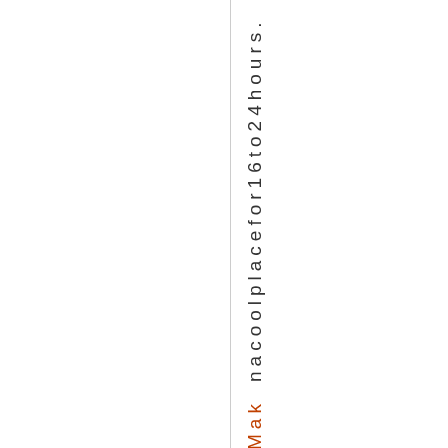nacoolplacefor16to24hours.
Mak